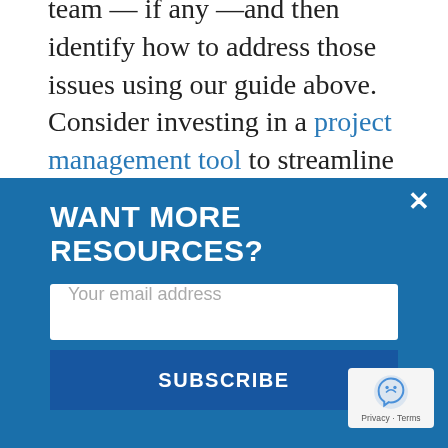team — if any —and then identify how to address those issues using our guide above. Consider investing in a project management tool to streamline some of these processes, and keep making feedback the norm. When you set clear deadlines and goals, communicate effectively, regularly give feedback, and maintain accountability, you can build a more functional team. Which, because we're all working to make the world a
WANT MORE RESOURCES?
Your email address
SUBSCRIBE